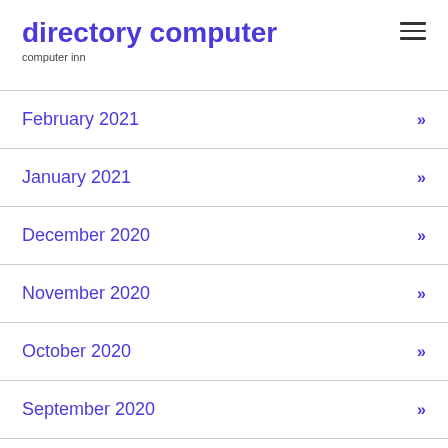directory computer
computer inn
February 2021
January 2021
December 2020
November 2020
October 2020
September 2020